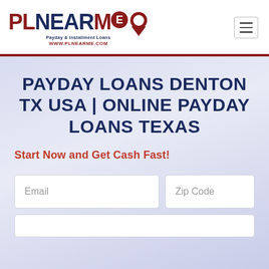[Figure (logo): PLNEARME logo with map pin icon, tagline 'Payday & Installment Loans' and URL 'WWW.PLNEARME.COM']
PAYDAY LOANS DENTON TX USA | ONLINE PAYDAY LOANS TEXAS
Start Now and Get Cash Fast!
Email  Zip Code
(phone input field partially visible)